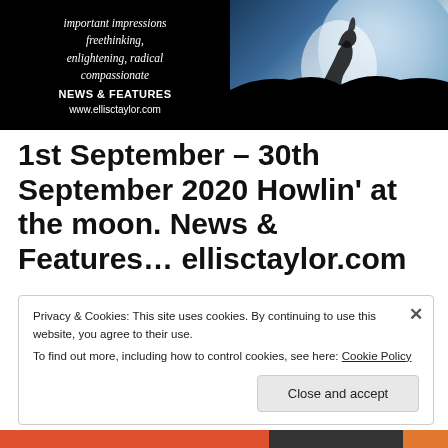[Figure (illustration): Black banner with italic serif text reading 'important impressions freethinking, enlightening, radical compassionate' and bold 'NEWS & FEATURES' and 'www.ellisctaylor.com', alongside a moonlit night scene with a glowing wolf silhouette]
1st September – 30th September 2020 Howlin' at the moon. News & Features… ellisctaylor.com
Privacy & Cookies: This site uses cookies. By continuing to use this website, you agree to their use.
To find out more, including how to control cookies, see here: Cookie Policy
Close and accept